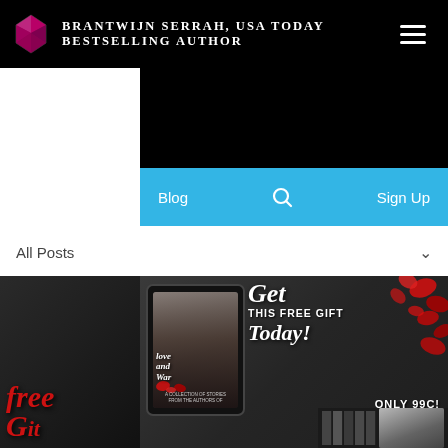Brantwijn Serrah, USA Today Bestselling Author
Blog
Sign Up
All Posts
[Figure (illustration): Promotional banner image for 'Love and War' book collection showing a tablet with a couple on the cover, rose petals in the background, script text reading 'Get THIS FREE GIFT Today!' and 'ONLY 99C!' with red script 'free' text at bottom left and book spines at bottom]
Get THIS FREE GIFT Today! ONLY 99C!